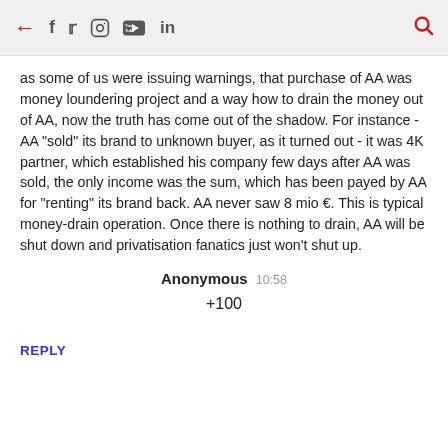← f 𝕏 (instagram) (youtube) in [search icon]
as some of us were issuing warnings, that purchase of AA was money loundering project and a way how to drain the money out of AA, now the truth has come out of the shadow. For instance - AA "sold" its brand to unknown buyer, as it turned out - it was 4K partner, which established his company few days after AA was sold, the only income was the sum, which has been payed by AA for "renting" its brand back. AA never saw 8 mio €. This is typical money-drain operation. Once there is nothing to drain, AA will be shut down and privatisation fanatics just won't shut up.
Anonymous  10:58
+100
REPLY